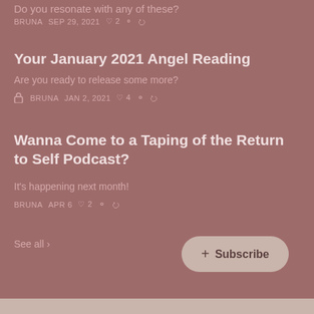Do you resonate with any of these?
BRUNA  SEP 29, 2021  ♡ 2
Your January 2021 Angel Reading
Are you ready to release some more?
🔒 BRUNA  JAN 2, 2021  ♡ 4
Wanna Come to a Taping of the Return to Self Podcast?
It's happening next month!
BRUNA  APR 6  ♡ 2
See all ›